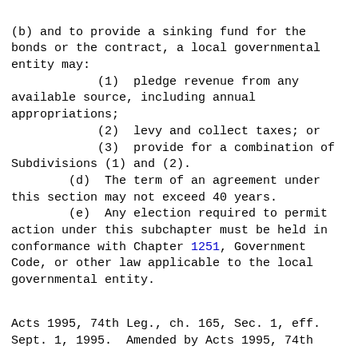(b) and to provide a sinking fund for the bonds or the contract, a local governmental entity may:
            (1)  pledge revenue from any available source, including annual appropriations;
            (2)  levy and collect taxes; or
            (3)  provide for a combination of Subdivisions (1) and (2).
        (d)  The term of an agreement under this section may not exceed 40 years.
        (e)  Any election required to permit action under this subchapter must be held in conformance with Chapter 1251, Government Code, or other law applicable to the local governmental entity.
Acts 1995, 74th Leg., ch. 165, Sec. 1, eff. Sept. 1, 1995.  Amended by Acts 1995, 74th